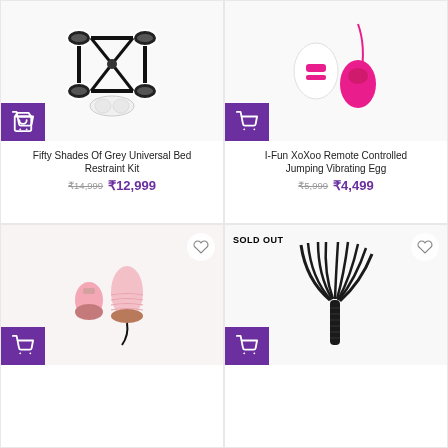[Figure (photo): Fifty Shades of Grey Universal Bed Restraint Kit with cuffs and blindfold]
Fifty Shades Of Grey Universal Bed Restraint Kit
₹14,999 ₹12,999
[Figure (photo): I-Fun XoXoo Remote Controlled Jumping Vibrating Egg in pink and white]
I-Fun XoXoo Remote Controlled Jumping Vibrating Egg
₹5,999 ₹4,499
[Figure (photo): Pink remote controlled vibrating egg with cord]
[Figure (photo): Black leather flogger whip - SOLD OUT]